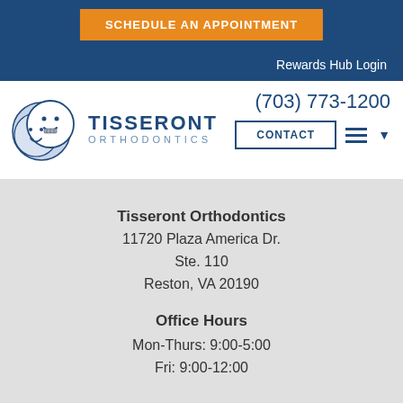SCHEDULE AN APPOINTMENT
Rewards Hub Login
[Figure (logo): Tisseront Orthodontics logo with two smiley face circles and text TISSERONT ORTHODONTICS]
(703) 773-1200
CONTACT
Tisseront Orthodontics
11720 Plaza America Dr.
Ste. 110
Reston, VA 20190
Office Hours
Mon-Thurs: 9:00-5:00
Fri: 9:00-12:00
SCHEDULE A CONSULTATION